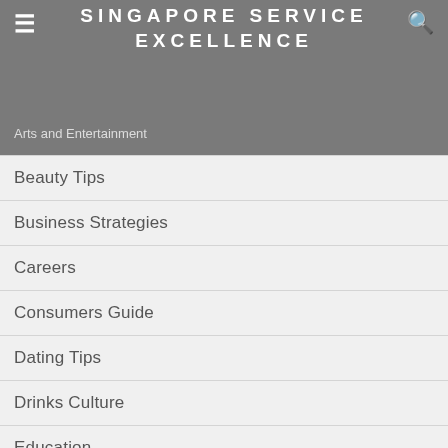SINGAPORE SERVICE EXCELLENCE
Arts and Entertainment
Beauty Tips
Business Strategies
Careers
Consumers Guide
Dating Tips
Drinks Culture
Education
Entertainment and Recreation
Excellent Service Expectations
Excellent Services
Experiencing with Toddlers